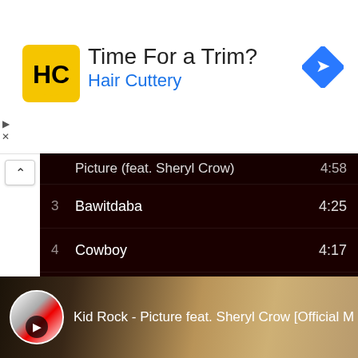[Figure (screenshot): Advertisement banner for Hair Cuttery showing logo, 'Time For a Trim?' text, and navigation icon]
| # | Title | Duration |
| --- | --- | --- |
|  | Picture (feat. Sheryl Crow) | 4:58 |
| 3 | Bawitdaba | 4:25 |
| 4 | Cowboy | 4:17 |
| 5 | Only God Knows Why | 5:27 |
| 6 | Cocky | 3:57 |
| 7 | You Never Met a Motherfucke... | 4:51 |
| 8 | Born Free | 4:24 |
| 9 | First Kiss | 4:40 |
| 10 | Devil Without a Cause | 5:32 |
[Figure (screenshot): YouTube video thumbnail for 'Kid Rock - Picture feat. Sheryl Crow [Official M' with circular artist icon and blurred woman's face in background]